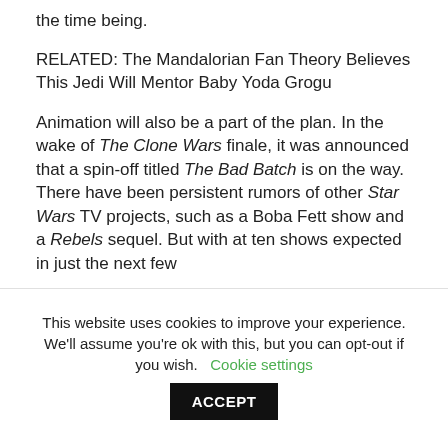the time being.
RELATED: The Mandalorian Fan Theory Believes This Jedi Will Mentor Baby Yoda Grogu
Animation will also be a part of the plan. In the wake of The Clone Wars finale, it was announced that a spin-off titled The Bad Batch is on the way. There have been persistent rumors of other Star Wars TV projects, such as a Boba Fett show and a Rebels sequel. But with at ten shows expected in just the next few
This website uses cookies to improve your experience. We'll assume you're ok with this, but you can opt-out if you wish.
Cookie settings
ACCEPT